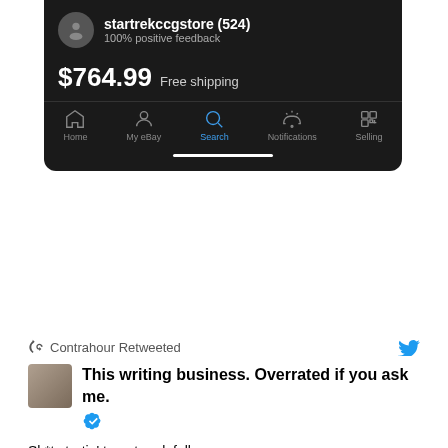[Figure (screenshot): eBay mobile app screenshot showing seller 'startrekccgstore (524)' with 100% positive feedback, price $764.99 with Free shipping, and bottom navigation bar with Home, My eBay, Search (active/blue), Notifications, and Selling icons.]
Contrahour Retweeted
This writing business. Overrated if you ask me.
Sh*t startin' to get real, folks
https://twitter.com/GoldTelegraph_/status/1562863329760407554
⚡Gold Telegraph @GoldTelegraph_
BREAKING NEWS

CARLSBERG MAY NEED TO "SIGNIFICANTLY REDUCE" OR HALT BEER